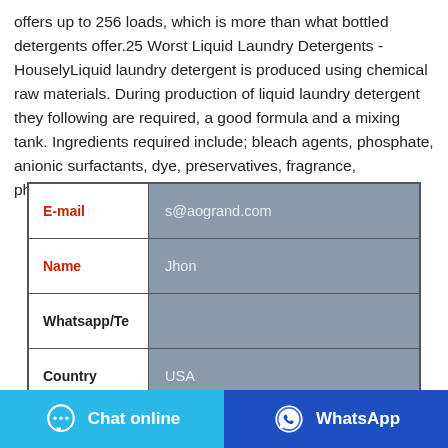offers up to 256 loads, which is more than what bottled detergents offer.25 Worst Liquid Laundry Detergents - HouselyLiquid laundry detergent is produced using chemical raw materials. During production of liquid laundry detergent they following are required, a good formula and a mixing tank. Ingredients required include; bleach agents, phosphate, anionic surfactants, dye, preservatives, fragrance, phosphonate derivatives etc.
| Field | Value |
| --- | --- |
| E-mail | s@aogrand.com |
| Name | Jhon |
| Whatsapp/Te |  |
| Country | USA |